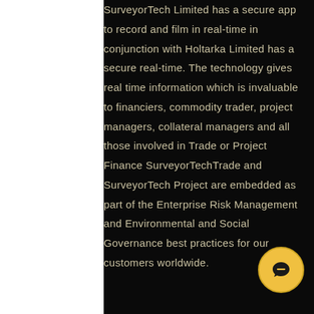SurveyorTech Limited has a secure app to record and film in real-time in conjunction with Holtarka Limited has a secure real-time. The technology gives real time information which is invaluable to financiers, commodity trader, project managers, collateral managers and all those involved in Trade or Project Finance SurveyorTechTrade and SurveyorTech Project are embedded as part of the Enterprise Risk Management and Environmental and Social Governance best practices for our customers worldwide.
[Figure (illustration): Golden circular chat/message icon with speech bubble symbol, positioned at bottom right of page]